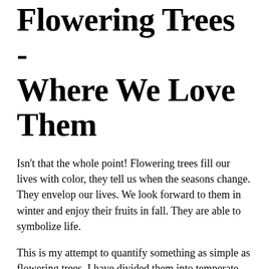Flowering Trees - Where We Love Them
Isn't that the whole point! Flowering trees fill our lives with color, they tell us when the seasons change. They envelop our lives. We look forward to them in winter and enjoy their fruits in fall. They are able to symbolize life.
This is my attempt to quantify something as simple as flowering trees. I have divided them into temperate climate trees and warm climate trees with the important features highlighted.
Flowering Tree Ideas